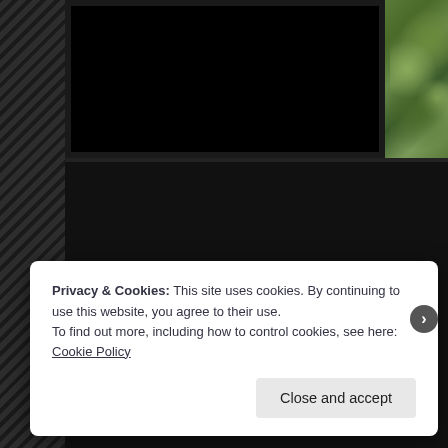[Figure (photo): Screenshot of a blog/website page showing a dark-themed layout. At the top is a photo area with a black section and a nature/greenery photo showing forest vegetation. Below is a dark panel area. Text reads: 'We set up our portable camp stove – I had had little luck getting a – and cooked a nice picnic lunch. Then we went on a hike:'. A cookie consent banner overlay appears at the bottom with text about privacy and cookies policy.]
We set up our portable camp stove – I had had little luck getting a – and cooked a nice picnic lunch.  Then we went on a hike:
Privacy & Cookies: This site uses cookies. By continuing to use this website, you agree to their use.
To find out more, including how to control cookies, see here: Cookie Policy
Close and accept